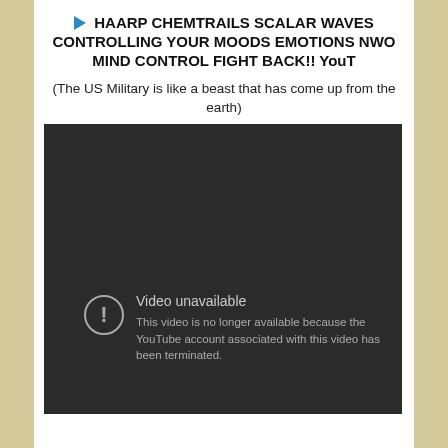▶ HAARP CHEMTRAILS SCALAR WAVES CONTROLLING YOUR MOODS EMOTIONS NWO MIND CONTROL FIGHT BACK!! YouT
(The US Military is like a beast that has come up from the earth)
[Figure (screenshot): YouTube video player showing 'Video unavailable' error message with exclamation icon and text: 'This video is no longer available because the YouTube account associated with this video has been terminated.']